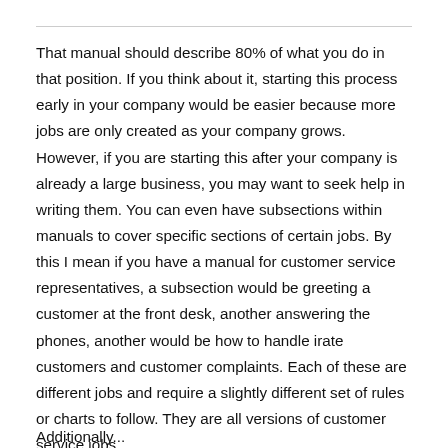That manual should describe 80% of what you do in that position. If you think about it, starting this process early in your company would be easier because more jobs are only created as your company grows. However, if you are starting this after your company is already a large business, you may want to seek help in writing them. You can even have subsections within manuals to cover specific sections of certain jobs. By this I mean if you have a manual for customer service representatives, a subsection would be greeting a customer at the front desk, another answering the phones, another would be how to handle irate customers and customer complaints. Each of these are different jobs and require a slightly different set of rules or charts to follow. They are all versions of customer service jobs.
Additionally...